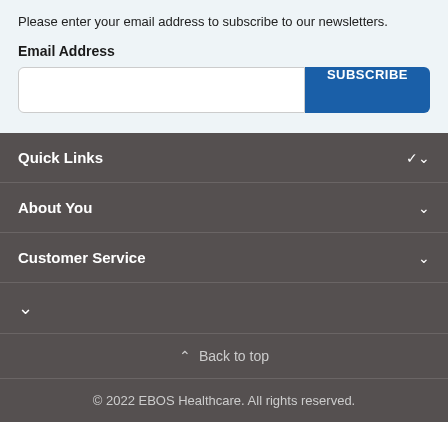Please enter your email address to subscribe to our newsletters.
Email Address
SUBSCRIBE (button)
Quick Links
About You
Customer Service
(chevron only row)
Back to top
© 2022 EBOS Healthcare. All rights reserved.